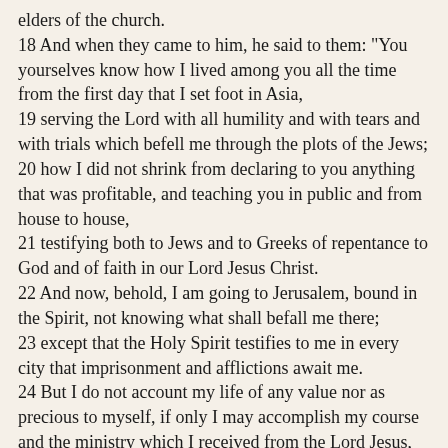elders of the church.
18 And when they came to him, he said to them: "You yourselves know how I lived among you all the time from the first day that I set foot in Asia,
19 serving the Lord with all humility and with tears and with trials which befell me through the plots of the Jews;
20 how I did not shrink from declaring to you anything that was profitable, and teaching you in public and from house to house,
21 testifying both to Jews and to Greeks of repentance to God and of faith in our Lord Jesus Christ.
22 And now, behold, I am going to Jerusalem, bound in the Spirit, not knowing what shall befall me there;
23 except that the Holy Spirit testifies to me in every city that imprisonment and afflictions await me.
24 But I do not account my life of any value nor as precious to myself, if only I may accomplish my course and the ministry which I received from the Lord Jesus, to testify to the gospel of the grace of God.
25 And now, behold, I know that all you among whom I have gone preaching the kingdom will see my face no more.
26 Therefore I testify to you this day that I am innocent of the blood of all of you.